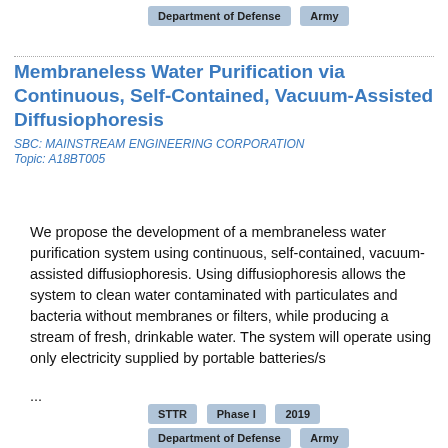Department of Defense  Army
Membraneless Water Purification via Continuous, Self-Contained, Vacuum-Assisted Diffusiophoresis
SBC: MAINSTREAM ENGINEERING CORPORATION
Topic: A18BT005
We propose the development of a membraneless water purification system using continuous, self-contained, vacuum-assisted diffusiophoresis. Using diffusiophoresis allows the system to clean water contaminated with particulates and bacteria without membranes or filters, while producing a stream of fresh, drinkable water. The system will operate using only electricity supplied by portable batteries/s ...
STTR  Phase I  2019  Department of Defense  Army